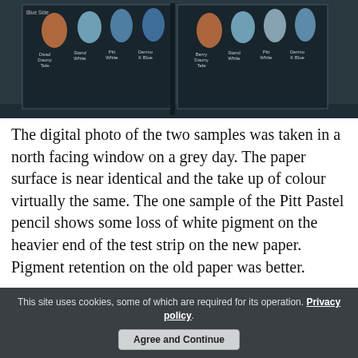[Figure (photo): A digital photograph of two open sketchbook pages side by side on a dark surface. Each page is dark paper with coloured pencil/pastel test swatches in orange, light blue, blue, and blue shades, with handwritten labels beneath each swatch: 'Dead Dauny Tele', 'Stand White', 'Pitt White', 'Dermo K Blue' on the left page, and 'Berry Dauny Tele', 'Stand White', 'Pitt White', 'Dermo K Blue' on the right page. The background is a dark blue-grey surface.]
The digital photo of the two samples was taken in a north facing window on a grey day. The paper surface is near identical and the take up of colour virtually the same. The one sample of the Pitt Pastel pencil shows some loss of white pigment on the heavier end of the test strip on the new paper. Pigment retention on the old paper was better.
This site uses cookies, some of which are required for its operation. Privacy policy. Agree and Continue